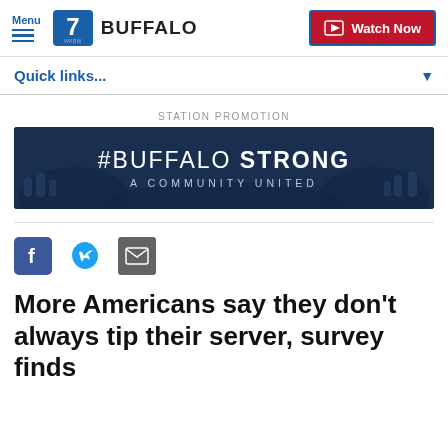Menu | 7 WKBW BUFFALO | Watch Now
Quick links...
STATION PROMOTION
[Figure (illustration): #BUFFALO STRONG — A COMMUNITY UNITED promotional banner with dark blue background and crowd imagery]
[Figure (infographic): Social share icons: Facebook, Twitter, Email]
More Americans say they don't always tip their server, survey finds